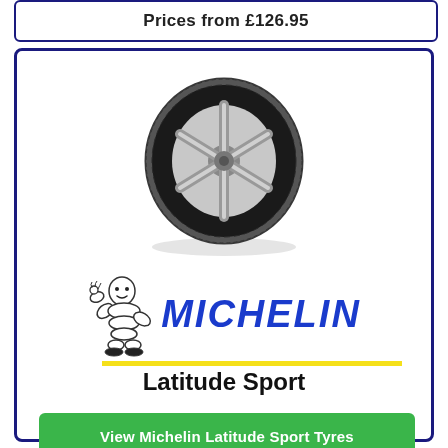Prices from £126.95
[Figure (photo): Michelin Latitude Sport tyre product image showing a black car tyre with silver alloy wheel]
[Figure (logo): Michelin logo with Bibendum (Michelin Man) mascot waving on the left, and MICHELIN text in large bold italic blue letters, with a yellow underline stroke]
Latitude Sport
View Michelin Latitude Sport Tyres